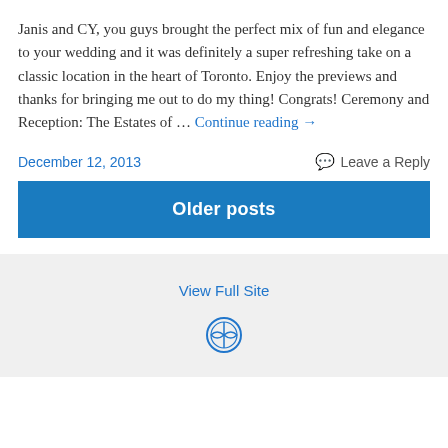Janis and CY, you guys brought the perfect mix of fun and elegance to your wedding and it was definitely a super refreshing take on a classic location in the heart of Toronto. Enjoy the previews and thanks for bringing me out to do my thing! Congrats! Ceremony and Reception: The Estates of … Continue reading →
December 12, 2013
Leave a Reply
Older posts
View Full Site